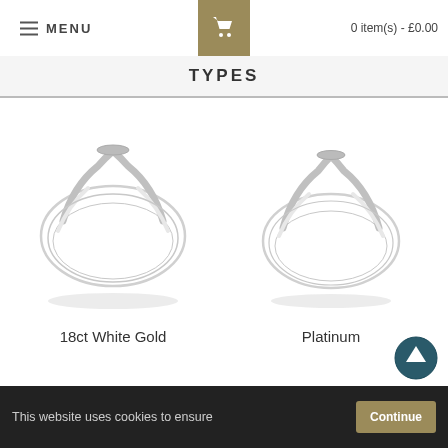MENU   0 item(s) - £0.00
TYPES
[Figure (photo): Photo of an 18ct White Gold ring with a sleek pointed top setting, silver colored, shot on white background]
18ct White Gold
[Figure (photo): Photo of a Platinum ring with a sleek pointed top setting, silver-white colored, shot on white background]
Platinum
This website uses cookies to ensure   Continue